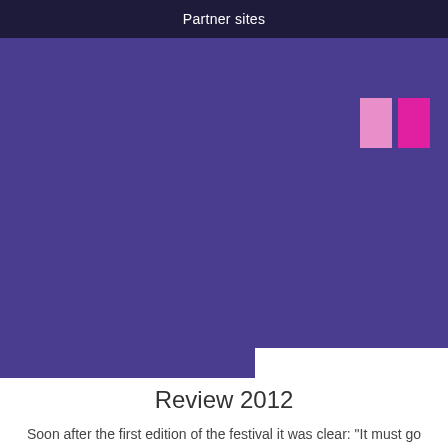Partner sites
[Figure (illustration): Large purple/violet background area with two small pink/magenta rectangular icon blocks in the upper right corner, and a white box emerging from the lower right portion]
Review 2012
Soon after the first edition of the festival it was clear: "It must go on!". And so the 2nd International StreetArt Festival took place